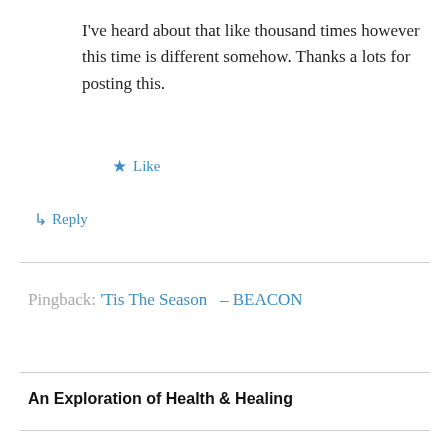I've heard about that like thousand times however this time is different somehow. Thanks a lots for posting this.
★ Like
↳ Reply
Pingback: 'Tis The Season  – BEACON
An Exploration of Health & Healing
[Figure (logo): THE Write WAY logo with 'THE' and 'WAY' in dark teal capital letters and 'Write' in cursive purple script]